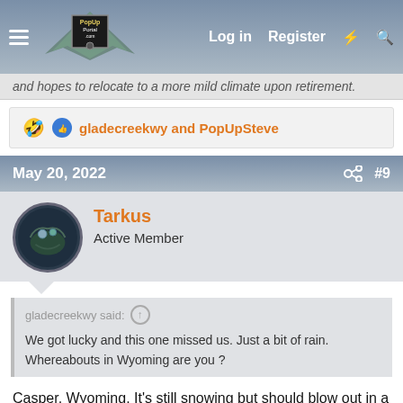PopUpPortal.com — Log in  Register
and hopes to relocate to a more mild climate upon retirement.
gladecreekwy and PopUpSteve
May 20, 2022   #9
Tarkus
Active Member
gladecreekwy said: ↑

We got lucky and this one missed us. Just a bit of rain. Whereabouts in Wyoming are you ?
Casper, Wyoming. It's still snowing but should blow out in a day or two.
I'll be pulling the pup out very soon to finish up some mods, then CAMPING!